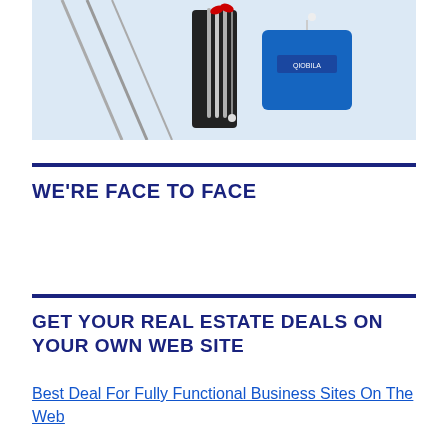[Figure (photo): Product photo showing metal straws with a black carrying case and a blue pouch/bag with a logo, on a light blue background]
WE'RE FACE TO FACE
GET YOUR REAL ESTATE DEALS ON YOUR OWN WEB SITE
Best Deal For Fully Functional Business Sites On The Web